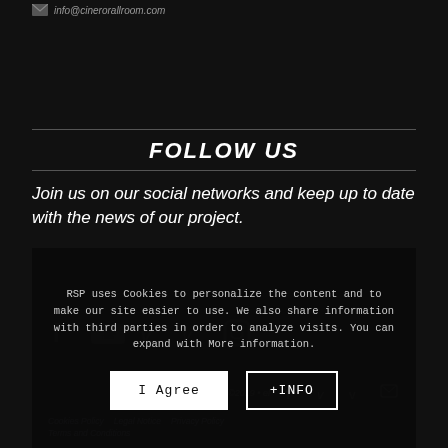info@.cineroralroom
FOLLOW US
Join us on our social networks and keep up to date with the news of our project.
RSP uses Cookies to personalize the content and to make our site easier to use. We also share information with third parties in order to analyze visits. You can expand with More information.
I Agree   +INFO
Cookies Policy   Legal Notice   Privacy Policy   Terms and Conditions